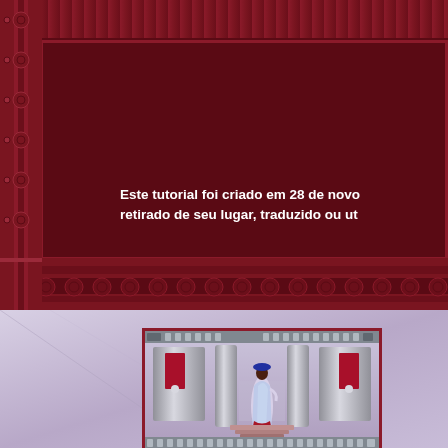Este tutorial foi criado em 28 de novo... retirado de seu lugar, traduzido ou ut...
[Figure (illustration): Decorative maroon frame with repeating circular ornament border on left and bottom band. Inner dark maroon panel contains white bold text in Portuguese. Below the frame is a lavender-grey background with a small framed image showing an art deco scene with a figure in a sari-like garment between metallic panels.]